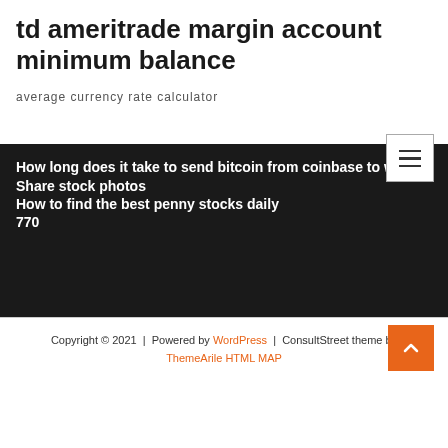td ameritrade margin account minimum balance
average currency rate calculator
How long does it take to send bitcoin from coinbase to wallet
Share stock photos
How to find the best penny stocks daily
770
Copyright © 2021  |  Powered by WordPress  |  ConsultStreet theme by ThemeArile HTML MAP